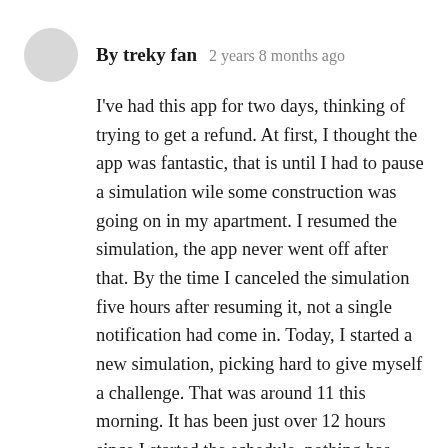By treky fan   2 years 8 months ago
I've had this app for two days, thinking of trying to get a refund. At first, I thought the app was fantastic, that is until I had to pause a simulation wile some construction was going on in my apartment. I resumed the simulation, the app never went off after that. By the time I canceled the simulation five hours after resuming it, not a single notification had come in. Today, I started a new simulation, picking hard to give myself a challenge. That was around 11 this morning. It has been just over 12 hours since I started the schedule, nothing has happened. Push notifications are turned on for the app, do not disturb is turned off. So why is this app no longer working as it should and is